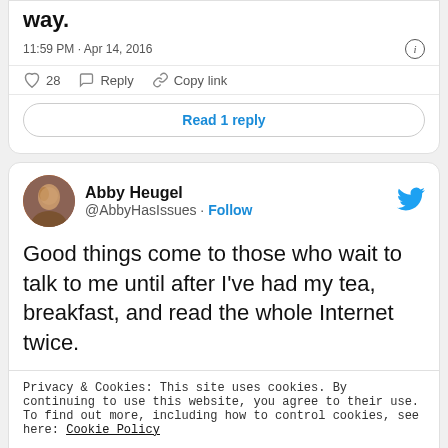way.
11:59 PM · Apr 14, 2016
♡ 28   Reply   Copy link
Read 1 reply
Abby Heugel @AbbyHasIssues · Follow
Good things come to those who wait to talk to me until after I've had my tea, breakfast, and read the whole Internet twice.
Privacy & Cookies: This site uses cookies. By continuing to use this website, you agree to their use.
To find out more, including how to control cookies, see here: Cookie Policy
Close and accept